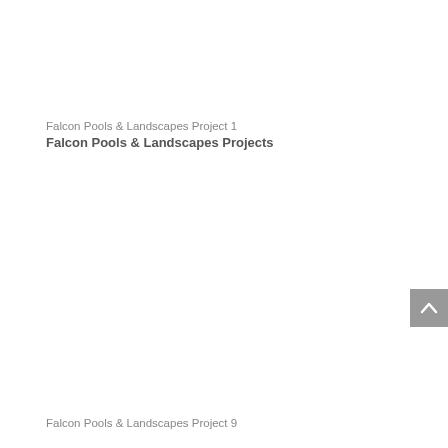Falcon Pools & Landscapes Project 1
Falcon Pools & Landscapes Projects
Falcon Pools & Landscapes Project 9